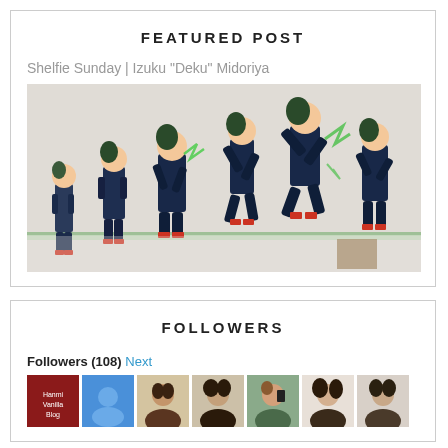FEATURED POST
Shelfie Sunday | Izuku "Deku" Midoriya
[Figure (photo): Collection of Izuku Midoriya anime figurines displayed on a glass shelf, shown in various action poses.]
FOLLOWERS
Followers (108) Next
[Figure (photo): Row of follower avatar profile pictures, showing 7 small square thumbnails including illustrated avatars and photos.]